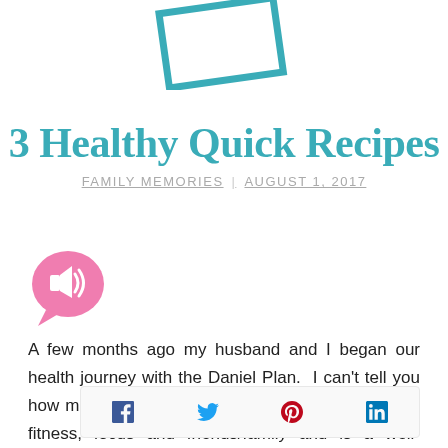[Figure (illustration): Teal/turquoise outlined rectangle tilted slightly, resembling a recipe card or envelope, partially cropped at top of page]
3 Healthy Quick Recipes
FAMILY MEMORIES | AUGUST 1, 2017
[Figure (illustration): Pink speech bubble with white speaker/volume icon inside]
A few months ago my husband and I began our health journey with the Daniel Plan.  I can't tell you how much I LOVE this plan.  It involves food, faith, fitness, focus and friends/family and is a well-rounded healthy lifestyle.
[Figure (infographic): Social sharing bar with Facebook, Twitter, Pinterest, and LinkedIn icons]